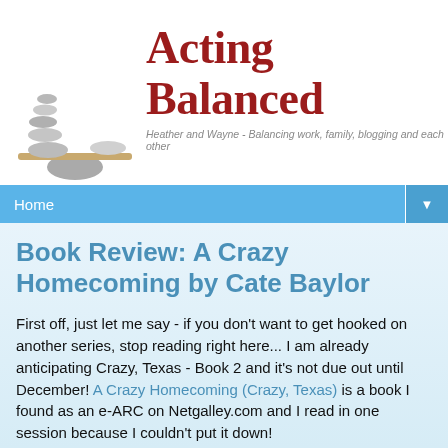[Figure (logo): Acting Balanced blog logo with stacked stones on a balance beam and text 'Acting Balanced' in dark red serif font, subtitle 'Heather and Wayne - Balancing work, family, blogging and each other']
Home ▼
Book Review: A Crazy Homecoming by Cate Baylor
First off, just let me say - if you don't want to get hooked on another series, stop reading right here... I am already anticipating Crazy, Texas - Book 2 and it's not due out until December! A Crazy Homecoming (Crazy, Texas) is a book I found as an e-ARC on Netgalley.com and I read in one session because I couldn't put it down!